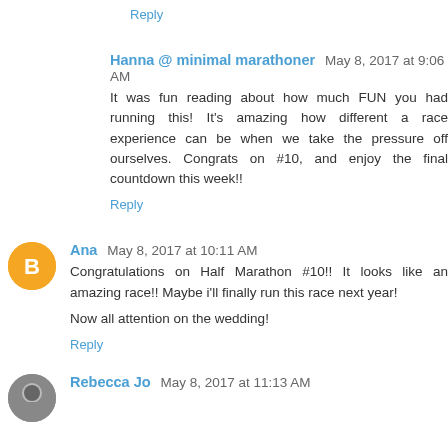Reply
Hanna @ minimal marathoner May 8, 2017 at 9:06 AM
It was fun reading about how much FUN you had running this! It's amazing how different a race experience can be when we take the pressure off ourselves. Congrats on #10, and enjoy the final countdown this week!!
Reply
Ana May 8, 2017 at 10:11 AM
Congratulations on Half Marathon #10!! It looks like an amazing race!! Maybe i'll finally run this race next year!

Now all attention on the wedding!
Reply
Rebecca Jo May 8, 2017 at 11:13 AM